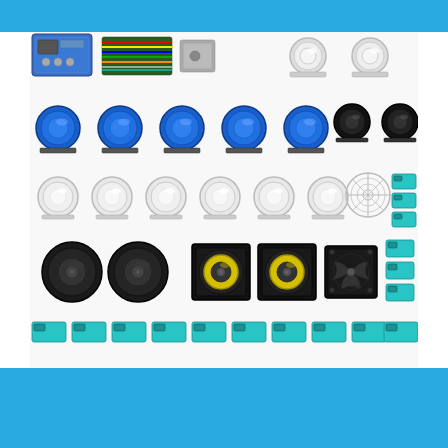[Figure (photo): Arcade cabinet parts kit including: electronic control board with wiring, power supply unit, blue push buttons (6), black push buttons (2), white illuminated push buttons (2), white push buttons (6), micro switches (many teal/green colored), round speakers (2 black dome tweeters, 2 square speakers), cooling fan, wire fan guard, and various small teal micro switch components arranged in rows on a white background.]